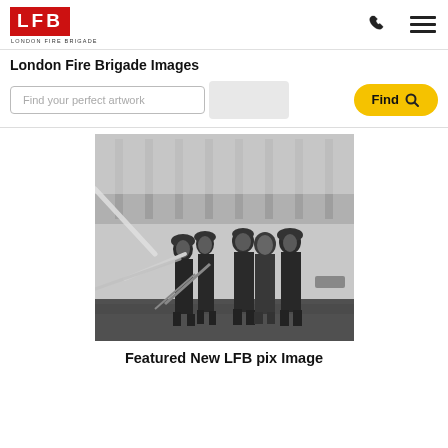LFB London Fire Brigade
London Fire Brigade Images
Find your perfect artwork  Find
[Figure (photo): Black and white historical photograph of London Fire Brigade firefighters in helmets manning a hose during a fire, with a smoky building facade visible in the background.]
Featured New LFB pix Image